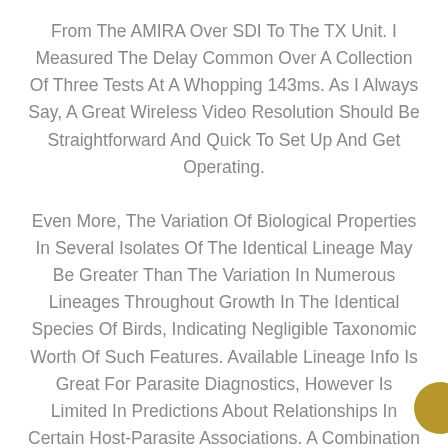From The AMIRA Over SDI To The TX Unit. I Measured The Delay Common Over A Collection Of Three Tests At A Whopping 143ms. As I Always Say, A Great Wireless Video Resolution Should Be Straightforward And Quick To Set Up And Get Operating.

Even More, The Variation Of Biological Properties In Several Isolates Of The Identical Lineage May Be Greater Than The Variation In Numerous Lineages Throughout Growth In The Identical Species Of Birds, Indicating Negligible Taxonomic Worth Of Such Features. Available Lineage Info Is Great For Parasite Diagnostics, However Is Limited In Predictions About Relationships In Certain Host-Parasite Associations. A Combination Of Experiments, Subject Observations, Microscopic And Molecular Diagnostics Is Essential For Understanding The Position Of Various P. Relictum Lineages In